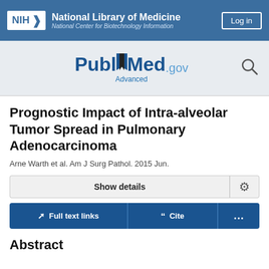[Figure (logo): NIH National Library of Medicine - National Center for Biotechnology Information header bar with Log in button]
[Figure (logo): PubMed.gov logo with Advanced search link and search icon]
Prognostic Impact of Intra-alveolar Tumor Spread in Pulmonary Adenocarcinoma
Arne Warth et al. Am J Surg Pathol. 2015 Jun.
Show details
Full text links  Cite  ...
Abstract